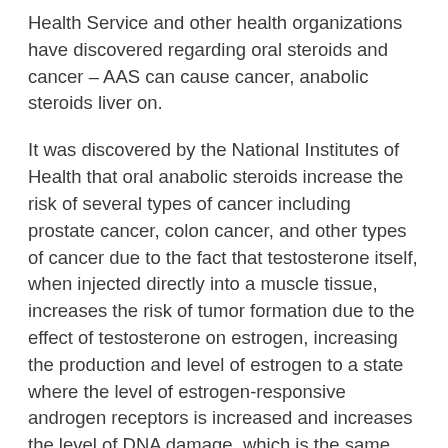Health Service and other health organizations have discovered regarding oral steroids and cancer – AAS can cause cancer, anabolic steroids liver on.
It was discovered by the National Institutes of Health that oral anabolic steroids increase the risk of several types of cancer including prostate cancer, colon cancer, and other types of cancer due to the fact that testosterone itself, when injected directly into a muscle tissue, increases the risk of tumor formation due to the effect of testosterone on estrogen, increasing the production and level of estrogen to a state where the level of estrogen-responsive androgen receptors is increased and increases the level of DNA damage, which is the same effect as a tumor that grows due to estrogen (the same thing that occurs in a tumor that grows due to estrogen in addition to the formation of metastases to other structures inside an